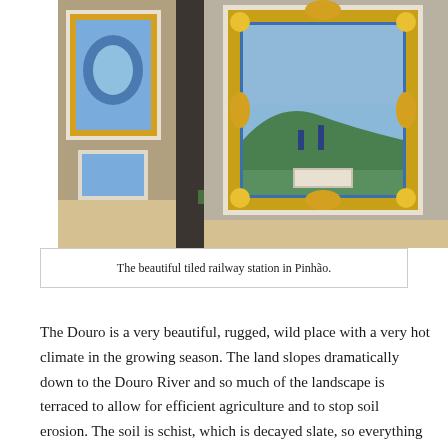[Figure (photo): Interior of the tiled railway station in Pinhão, Portugal. Decorative blue-and-white azulejo tile panels with ornate yellow borders cover the walls. A dark pillar stands in the middle, and a green mat is visible on the floor.]
The beautiful tiled railway station in Pinhão.
The Douro is a very beautiful, rugged, wild place with a very hot climate in the growing season. The land slopes dramatically down to the Douro River and so much of the landscape is terraced to allow for efficient agriculture and to stop soil erosion. The soil is schist, which is decayed slate, so everything makes this a hard landscape to work and ensures that pretty much everything still has to be done by hand – and sometimes